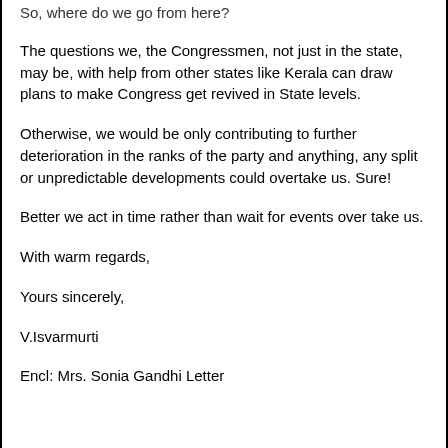So, where do we go from here?
The questions we, the Congressmen, not just in the state, may be, with help from other states like Kerala can draw plans to make Congress get revived in State levels.
Otherwise, we would be only contributing to further deterioration in the ranks of the party and anything, any split or unpredictable developments could overtake us. Sure!
Better we act in time rather than wait for events over take us.
With warm regards,
Yours sincerely,
V.Isvarmurti
Encl: Mrs. Sonia Gandhi Letter